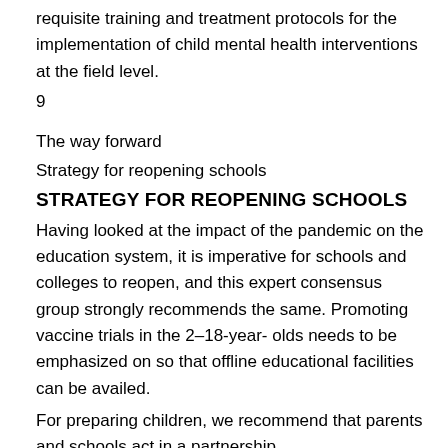requisite training and treatment protocols for the implementation of child mental health interventions at the field level.
9
The way forward
Strategy for reopening schools
STRATEGY FOR REOPENING SCHOOLS
Having looked at the impact of the pandemic on the education system, it is imperative for schools and colleges to reopen, and this expert consensus group strongly recommends the same. Promoting vaccine trials in the 2–18-year- olds needs to be emphasized on so that offline educational facilities can be availed.
For preparing children, we recommend that parents and schools act in a partnership.
a) Role of parents. Preparing children in advance